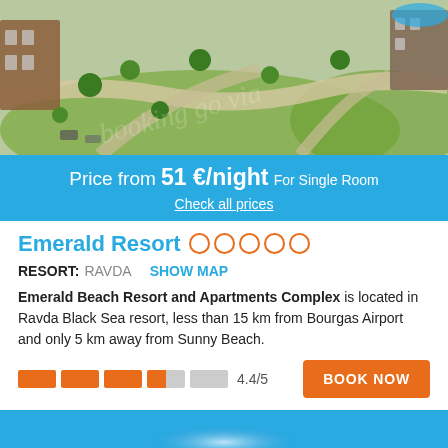[Figure (photo): Aerial view of a resort complex with green landscaped gardens, curved pathways, trees, and buildings. Watermark text visible on image.]
Price from 51 €/night For Single Room
Check all prices
Emerald Resort ○○○○○
RESORT: RAVDA   SHOW MAP
Emerald Beach Resort and Apartments Complex is located in Ravda Black Sea resort, less than 15 km from Bourgas Airport and only 5 km away from Sunny Beach.
4.4/5
[Figure (photo): Blue gradient bar at the bottom of the page]